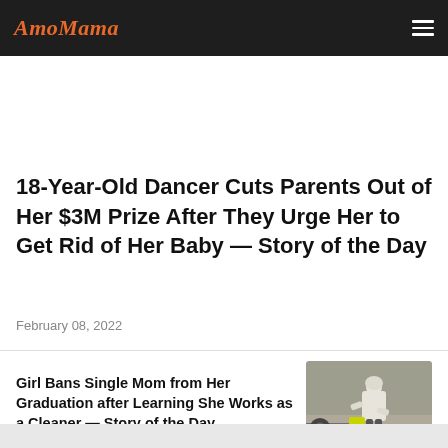AmoMama
18-Year-Old Dancer Cuts Parents Out of Her $3M Prize After They Urge Her to Get Rid of Her Baby — Story of the Day
February 08, 2022
Girl Bans Single Mom from Her Graduation after Learning She Works as a Cleaner — Story of the Day
[Figure (photo): A person wearing a white hooded jacket bending down with a yellow dustpan on a sidewalk or street surface.]